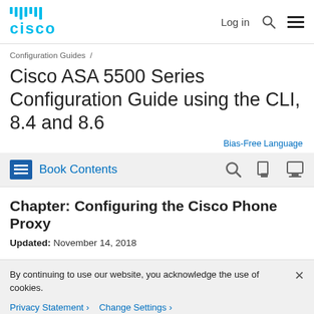Cisco — Log in [search] [menu]
Configuration Guides /
Cisco ASA 5500 Series Configuration Guide using the CLI, 8.4 and 8.6
Bias-Free Language
Book Contents
Chapter: Configuring the Cisco Phone Proxy
Updated: November 14, 2018
By continuing to use our website, you acknowledge the use of cookies.
Privacy Statement >  Change Settings >